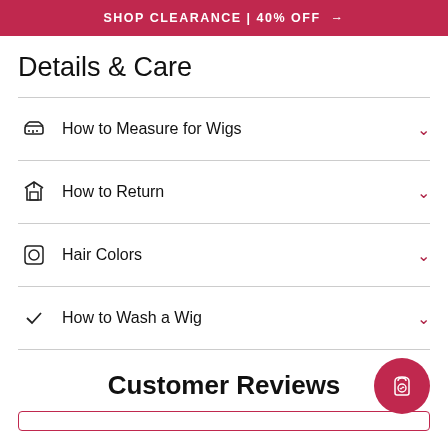SHOP CLEARANCE | 40% OFF →
Details & Care
How to Measure for Wigs
How to Return
Hair Colors
How to Wash a Wig
Customer Reviews